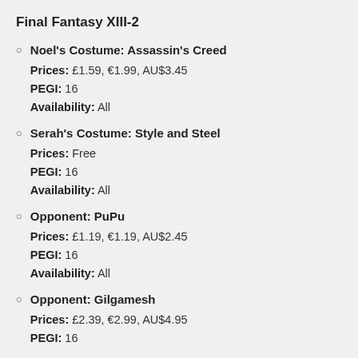Final Fantasy XIII-2
Noel's Costume: Assassin's Creed
Prices: £1.59, €1.99, AU$3.45
PEGI: 16
Availability: All
Serah's Costume: Style and Steel
Prices: Free
PEGI: 16
Availability: All
Opponent: PuPu
Prices: £1.19, €1.19, AU$2.45
PEGI: 16
Availability: All
Opponent: Gilgamesh
Prices: £2.39, €2.99, AU$4.95
PEGI: 16